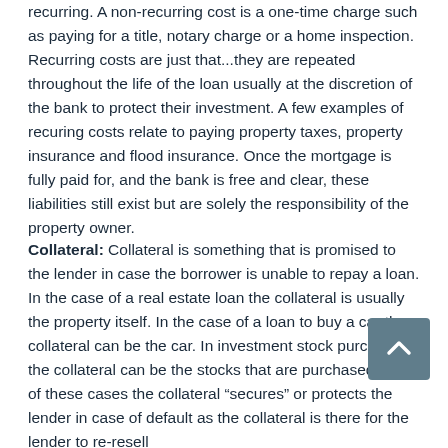recurring. A non-recurring cost is a one-time charge such as paying for a title, notary charge or a home inspection. Recurring costs are just that...they are repeated throughout the life of the loan usually at the discretion of the bank to protect their investment. A few examples of recuring costs relate to paying property taxes, property insurance and flood insurance. Once the mortgage is fully paid for, and the bank is free and clear, these liabilities still exist but are solely the responsibility of the property owner.
Collateral: Collateral is something that is promised to the lender in case the borrower is unable to repay a loan. In the case of a real estate loan the collateral is usually the property itself. In the case of a loan to buy a car the collateral can be the car. In investment stock purchases the collateral can be the stocks that are purchased. In all of these cases the collateral “secures” or protects the lender in case of default as the collateral is there for the lender to re-resell